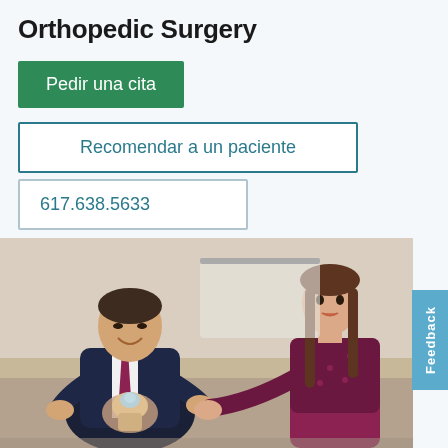Orthopedic Surgery
Pedir una cita
Recomendar a un paciente
617.638.5633
[Figure (photo): A male doctor in a suit and tie smiling while showing a joint model to a female patient in a clinical setting.]
Feedback